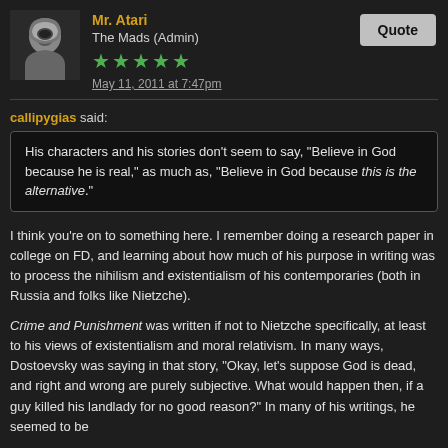Mr. Atari
The Mads (Admin)
★★★★★
May 11, 2011 at 7:47pm
Quote
callipygias said:
His characters and his stories don't seem to say, "Believe in God because he is real," as much as, "Believe in God because this is the alternative."
I think you're on to something here. I remember doing a research paper in college on FD, and learning about how much of his purpose in writing was to process the nihilism and existentialism of his contemporaries (both in Russia and folks like Nietzche).
Crime and Punishment was written if not to Nietzche specifically, at least to his views of existentialism and moral relativism. In many ways, Dostoevsky was saying in that story, "Okay, let's suppose God is dead, and right and wrong are purely subjective. What would happen then, if a guy killed his landlady for no good reason?" In many of his writings, he seemed to be